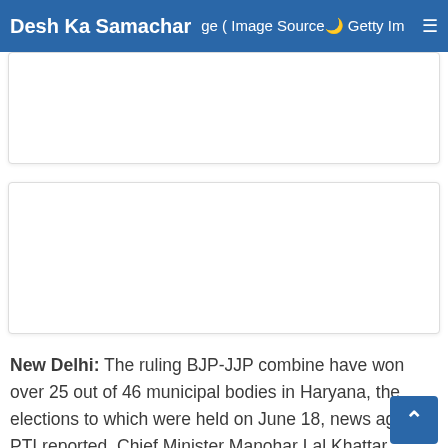Desh Ka Samachar  ( Image Source: Getty Images )
[Figure (other): Advertisement banner placeholder box 1]
[Figure (other): Advertisement banner placeholder box 2]
New Delhi: The ruling BJP-JJP combine have won over 25 out of 46 municipal bodies in Haryana, the elections to which were held on June 18, news agency PTI reported. Chief Minister Manohar Lal Khattar congratulated the winning BJP candidates and said that the victory reflects the trust of people in the party. The polls were held for the 18 municipal councils and 28 municipal committees in the